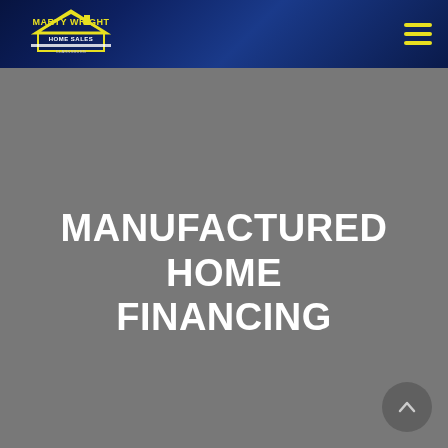[Figure (logo): Marty Wright Home Sales logo with house icon in yellow and white on dark navy background header]
MANUFACTURED HOME FINANCING